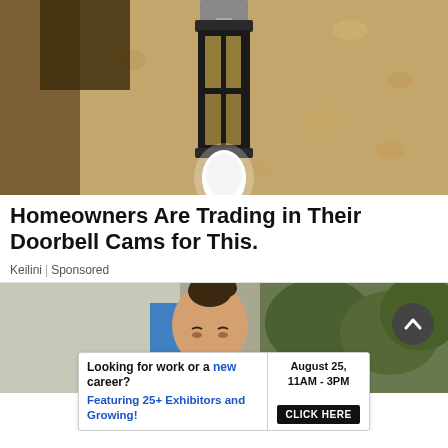[Figure (photo): Close-up photo of a dark metal outdoor wall lantern with a glowing white bulb, mounted on a textured stucco wall]
Homeowners Are Trading in Their Doorbell Cams for This.
Keilini | Sponsored
[Figure (photo): Photo of a young woman with hair in a bun, standing outside near a building and trees; a circular scroll-up button is overlaid at the bottom right]
[Figure (infographic): Advertisement banner: 'Looking for work or a new career? August 25, 11AM - 3PM. Featuring 25+ Exhibitors and Growing! CLICK HERE']